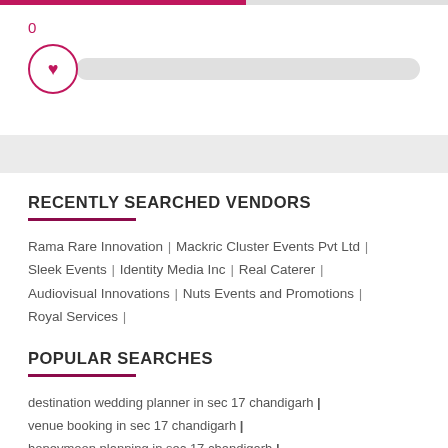[Figure (infographic): Slider UI with value 0, heart icon thumb on left, gray track bar extending to the right]
RECENTLY SEARCHED VENDORS
Rama Rare Innovation | Mackric Cluster Events Pvt Ltd | Sleek Events | Identity Media Inc | Real Caterer | Audiovisual Innovations | Nuts Events and Promotions | Royal Services |
POPULAR SEARCHES
destination wedding planner in sec 17 chandigarh |
venue booking in sec 17 chandigarh |
honeymoon planning in sec 17 chandigarh |
wedding event management in sec 17 chandigarh |
wedding planning in sec 17 chandigarh |
live performers in sec 17 chandigarh |